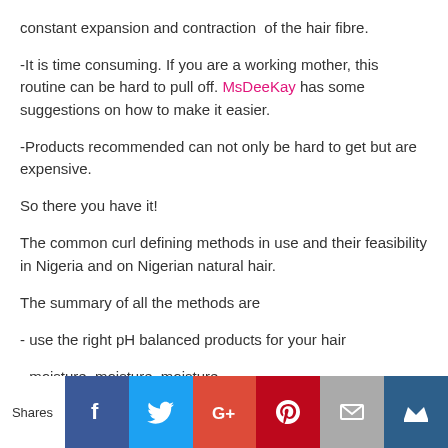constant expansion and contraction of the hair fibre.
-It is time consuming. If you are a working mother, this routine can be hard to pull off. MsDeeKay has some suggestions on how to make it easier.
-Products recommended can not only be hard to get but are expensive.

So there you have it!
The common curl defining methods in use and their feasibility in Nigeria and on Nigerian natural hair.

The summary of all the methods are
- use the right pH balanced products for your hair
- moisture, moisture, moisture
- keep those curls together